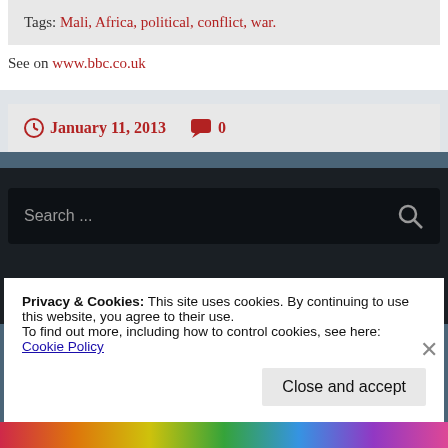Tags: Mali, Africa, political, conflict, war.
See on www.bbc.co.uk
January 11, 2013   0
Search ...
Privacy & Cookies: This site uses cookies. By continuing to use this website, you agree to their use. To find out more, including how to control cookies, see here: Cookie Policy
Close and accept